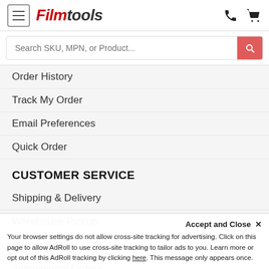Filmtools
Search SKU, MPN, or Product...
Order History
Track My Order
Email Preferences
Quick Order
CUSTOMER SERVICE
Shipping & Delivery
Warehouse Pickup
Return Policy
International Orders
Gift Cards
Contact Us
Locate Us
Accept and Close ✕
Your browser settings do not allow cross-site tracking for advertising. Click on this page to allow AdRoll to use cross-site tracking to tailor ads to you. Learn more or opt out of this AdRoll tracking by clicking here. This message only appears once.